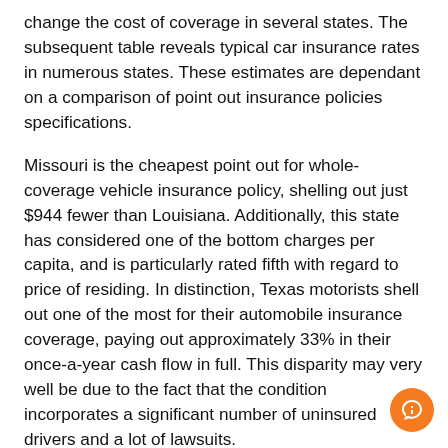change the cost of coverage in several states. The subsequent table reveals typical car insurance rates in numerous states. These estimates are dependant on a comparison of point out insurance policies specifications.
Missouri is the cheapest point out for whole-coverage vehicle insurance policy, shelling out just $944 fewer than Louisiana. Additionally, this state has considered one of the bottom charges per capita, and is particularly rated fifth with regard to price of residing. In distinction, Texas motorists shell out one of the most for their automobile insurance coverage, paying out approximately 33% in their once-a-year cash flow in full. This disparity may very well be due to the fact that the condition incorporates a significant number of uninsured drivers and a lot of lawsuits.
The national ordinary for entire coverage car insurance is $1,771 a 12 months. The point out with the most expensive insurance coverage premium is Louisiana, which has a premium of $two,839, a 19% raise from 2020. Conversely,